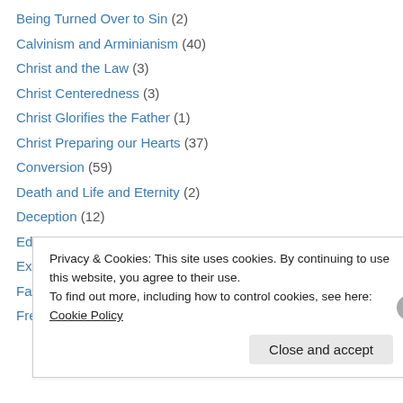Being Turned Over to Sin (2)
Calvinism and Arminianism (40)
Christ and the Law (3)
Christ Centeredness (3)
Christ Glorifies the Father (1)
Christ Preparing our Hearts (37)
Conversion (59)
Death and Life and Eternity (2)
Deception (12)
Edwards on the God-Centeredness of God (18)
Examining the Heart (90)
Faith and Pride (6)
Free Grace (36)
Privacy & Cookies: This site uses cookies. By continuing to use this website, you agree to their use. To find out more, including how to control cookies, see here: Cookie Policy